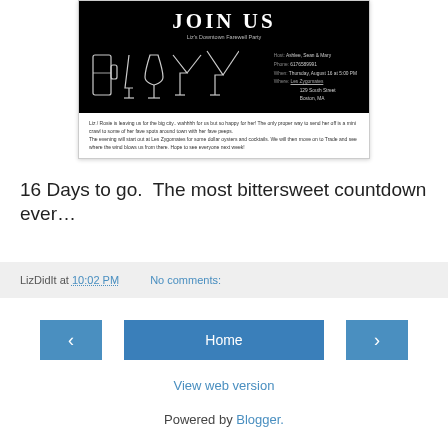[Figure (illustration): Party invitation card with black top section showing 'JOIN US' title and Liz's Downtown Farewell Party subtitle, illustrated cocktail glasses, host/phone/when/where details, and white body text describing the event.]
16 Days to go.  The most bittersweet countdown ever…
LizDidIt at 10:02 PM   No comments:
‹   Home   ›
View web version
Powered by Blogger.